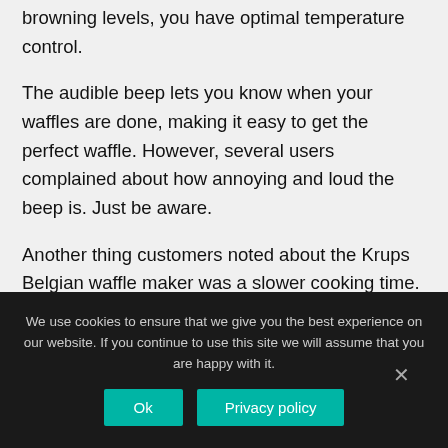browning levels, you have optimal temperature control.
The audible beep lets you know when your waffles are done, making it easy to get the perfect waffle. However, several users complained about how annoying and loud the beep is. Just be aware.
Another thing customers noted about the Krups Belgian waffle maker was a slower cooking time. Make sure to allow enough time for your waffles to
We use cookies to ensure that we give you the best experience on our website. If you continue to use this site we will assume that you are happy with it.
Ok
Privacy policy